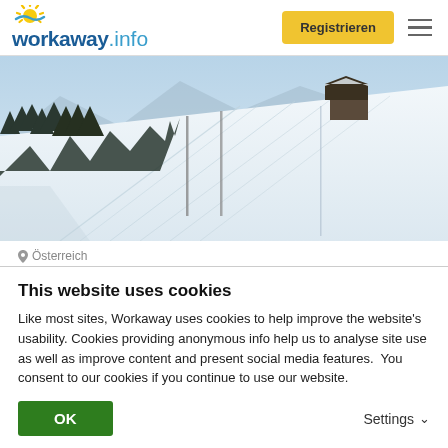[Figure (logo): Workaway.info logo with sun graphic]
[Figure (photo): Winter mountain landscape with snow-covered slopes, ski tracks, trees, and a chalet]
Österreich
Help with art projects and gardening
This website uses cookies
Like most sites, Workaway uses cookies to help improve the website's usability. Cookies providing anonymous info help us to analyse site use as well as improve content and present social media features.  You consent to our cookies if you continue to use our website.
OK
Settings